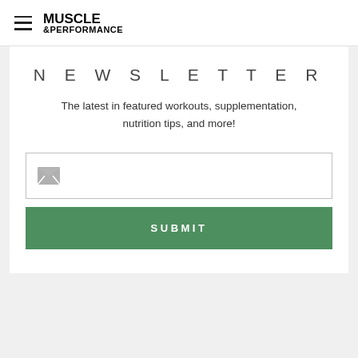MUSCLE &PERFORMANCE
NEWSLETTER
The latest in featured workouts, supplementation, nutrition tips, and more!
[Figure (other): Email input field with envelope icon]
SUBMIT